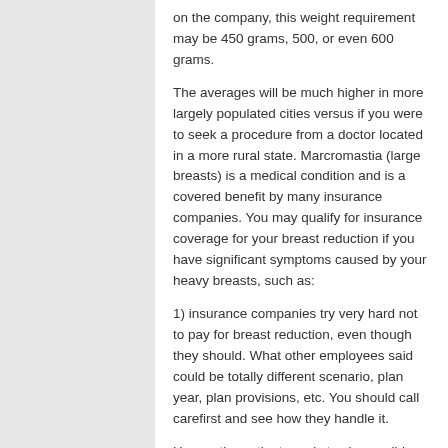on the company, this weight requirement may be 450 grams, 500, or even 600 grams.
The averages will be much higher in more largely populated cities versus if you were to seek a procedure from a doctor located in a more rural state. Marcromastia (large breasts) is a medical condition and is a covered benefit by many insurance companies. You may qualify for insurance coverage for your breast reduction if you have significant symptoms caused by your heavy breasts, such as:
1) insurance companies try very hard not to pay for breast reduction, even though they should. What other employees said could be totally different scenario, plan year, plan provisions, etc. You should call carefirst and see how they handle it.
Hence, the patient needs to show valid medical reasons for opting for breast reduction surgery.